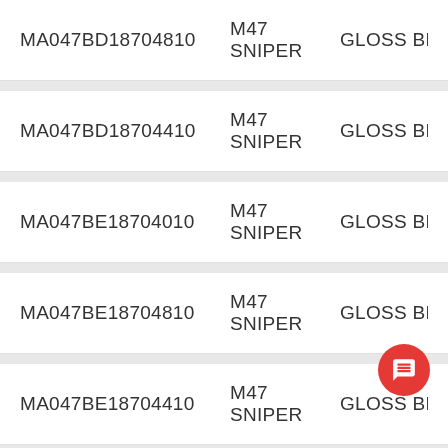| SKU | Model | Finish |
| --- | --- | --- |
| MA047BD18704810 | M47 SNIPER | GLOSS BLACK M |
| MA047BD18704410 | M47 SNIPER | GLOSS BLACK M |
| MA047BE18704010 | M47 SNIPER | GLOSS BLACK M |
| MA047BE18704810 | M47 SNIPER | GLOSS BLACK M |
| MA047BE18704410 | M47 SNIPER | GLOSS BLACK M |
| MA047AX18704810 | M47 SNIPER | GUNMETAL MILL |
| MA047AX18704410 | M47 SNIPER | GUNMETAL MILL |